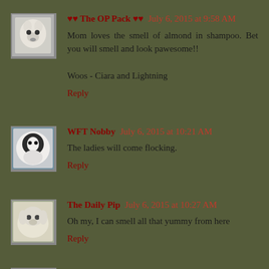♥♥ The OP Pack ♥♥ — July 6, 2015 at 9:58 AM — Mom loves the smell of almond in shampoo. Bet you will smell and look pawesome!! Woos - Ciara and Lightning — Reply
WFT Nobby — July 6, 2015 at 10:21 AM — The ladies will come flocking. — Reply
The Daily Pip — July 6, 2015 at 10:27 AM — Oh my, I can smell all that yummy from here — Reply
Ruby — July 6, 2015 at 10:32 AM